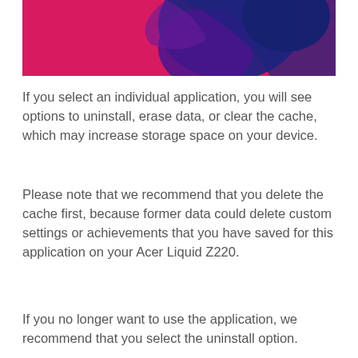[Figure (illustration): Colorful abstract illustration with pink/magenta background and dark blue/purple shapes, partially cropped at top of page, showing what appears to be a stylized figure or design element for a device manual.]
If you select an individual application, you will see options to uninstall, erase data, or clear the cache, which may increase storage space on your device.
Please note that we recommend that you delete the cache first, because former data could delete custom settings or achievements that you have saved for this application on your Acer Liquid Z220.
If you no longer want to use the application, we recommend that you select the uninstall option.